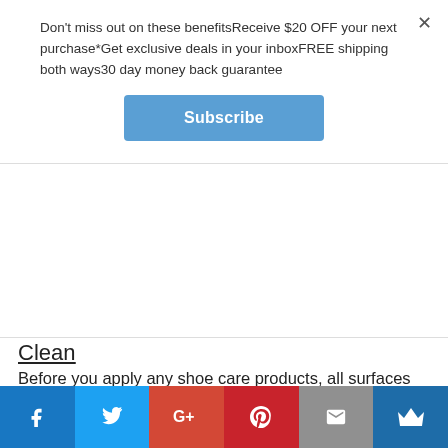Don't miss out on these benefitsReceive $20 OFF your next purchase*Get exclusive deals in your inboxFREE shipping both ways30 day money back guarantee
Subscribe
Clean
Before you apply any shoe care products, all surfaces should be sparkling clean, but you should also clean your shoes every week too! Using a cleaner and conditioner, use a damp cloth to apply the solution to your Rockports and they will be good as new in no time at all.
Restore
When it comes to restoring your shoes, it requires
[Figure (infographic): Social media share bar with Facebook, Twitter, Google+, Pinterest, Email, and blog icons]